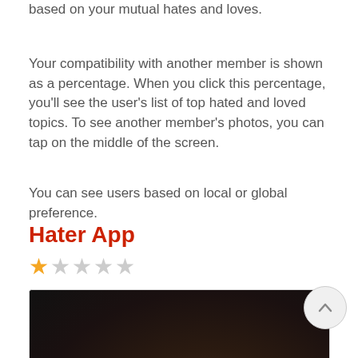based on your mutual hates and loves.
Your compatibility with another member is shown as a percentage. When you click this percentage, you'll see the user's list of top hated and loved topics. To see another member's photos, you can tap on the middle of the screen.
You can see users based on local or global preference.
Hater App
★☆☆☆☆ (1 out of 5 stars)
[Figure (screenshot): Screenshot of the Hater app showing a dark background with a phone/device icon and the word 'hater' in white serif bold font.]